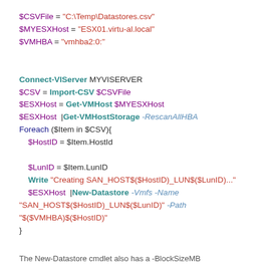$CSVFile = "C:\Temp\Datastores.csv"
$MYESXHost = "ESX01.virtu-al.local"
$VMHBA = "vmhba2:0:"

Connect-VIServer MYVISERVER
$CSV = Import-CSV $CSVFile
$ESXHost = Get-VMHost $MYESXHost
$ESXHost |Get-VMHostStorage -RescanAllHBA
Foreach ($Item in $CSV){
    $HostID = $Item.HostId
    $LunID = $Item.LunID
    Write "Creating SAN_HOST$($HostID)_LUN$($LunID)..."
    $ESXHost |New-Datastore -Vmfs -Name
"SAN_HOST$($HostID)_LUN$($LunID)" -Path
"$($VMHBA)$($HostID)"
}
The New-Datastore cmdlet also has a -BlockSizeMB